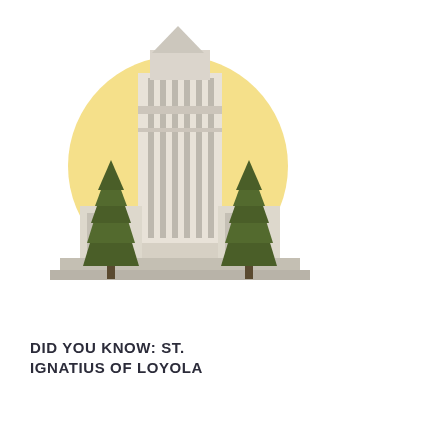[Figure (illustration): Illustration of a church building (St. Ignatius of Loyola) with a tall central tower, flanked by two dark green conical trees, and a large pale yellow circle (sun or halo) behind the tower. The building is rendered in light gray and cream tones.]
DID YOU KNOW: ST. IGNATIUS OF LOYOLA